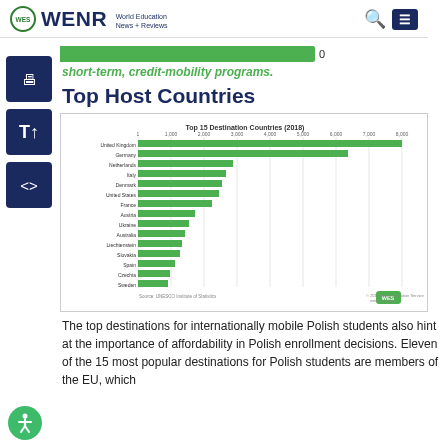WENR World Education News + Reviews
short-term, credit-mobility programs.
Top Host Countries
[Figure (bar-chart): Top 15 Destination Countries (2018)]
The top destinations for internationally mobile Polish students also hint at the importance of affordability in Polish enrollment decisions. Eleven of the 15 most popular destinations for Polish students are members of the EU, which